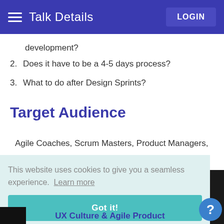Talk Details | LOGIN
development?
2. Does it have to be a 4-5 days process?
3. What to do after Design Sprints?
Target Audience
Agile Coaches, Scrum Masters, Product Managers,
This website uses cookies to give you a seamless experience. Learn more
Got it!
UX Culture & Agile Product